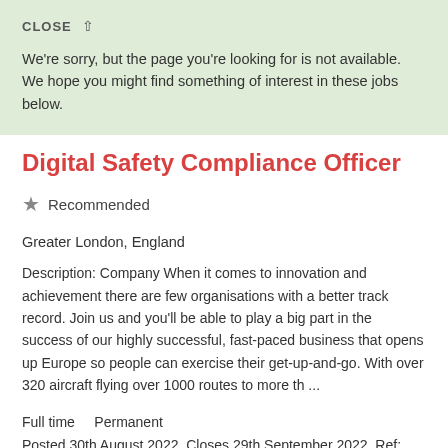CLOSE ^
We're sorry, but the page you're looking for is not available. We hope you might find something of interest in these jobs below.
Digital Safety Compliance Officer
★ Recommended
Greater London, England
Description: Company When it comes to innovation and achievement there are few organisations with a better track record. Join us and you'll be able to play a big part in the success of our highly successful, fast-paced business that opens up Europe so people can exercise their get-up-and-go. With over 320 aircraft flying over 1000 routes to more th ...
Full time    Permanent
Posted 30th August 2022, Closes 29th September 2022. Ref: 12731
More about the